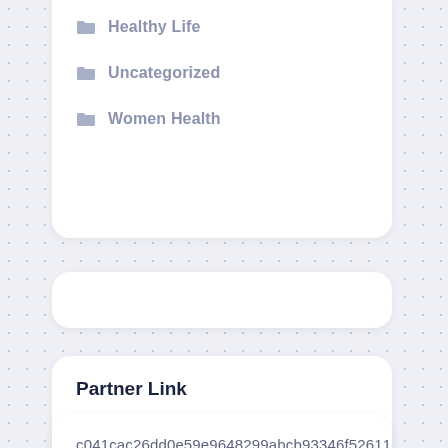Healthy Life
Uncategorized
Women Health
Partner Link
•
Partner links
c041cac26dd0e59e9648299abcb93346f5261131